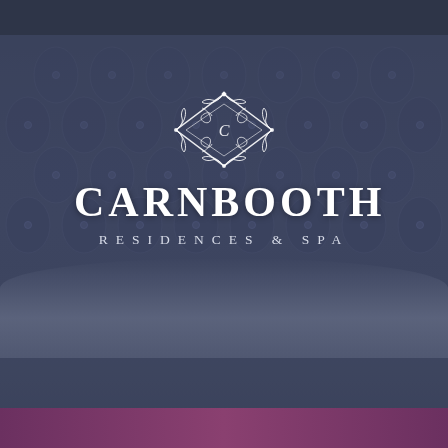[Figure (logo): Carnbooth Residences & Spa logo with decorative ornamental emblem above the text, set against a dark tufted headboard background with a purple bar at the bottom.]